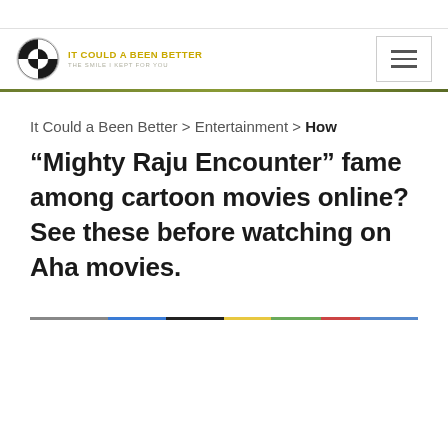IT COULD A BEEN BETTER — THE SMILE I KEPT FOR YOU
It Could a Been Better > Entertainment > How “Mighty Raju Encounter” fame among cartoon movies online?  See these before watching on Aha movies.